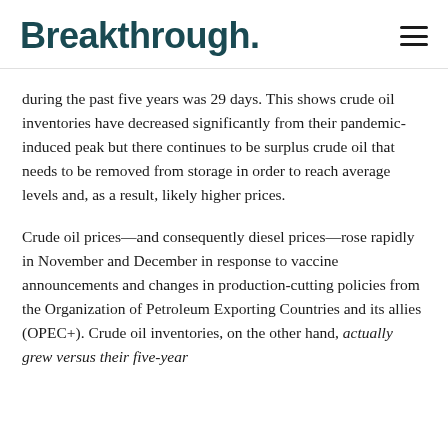Breakthrough.
during the past five years was 29 days. This shows crude oil inventories have decreased significantly from their pandemic-induced peak but there continues to be surplus crude oil that needs to be removed from storage in order to reach average levels and, as a result, likely higher prices.
Crude oil prices—and consequently diesel prices—rose rapidly in November and December in response to vaccine announcements and changes in production-cutting policies from the Organization of Petroleum Exporting Countries and its allies (OPEC+). Crude oil inventories, on the other hand, actually grew versus their five-year